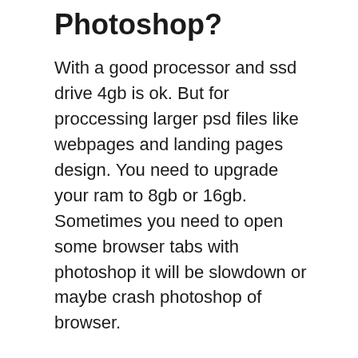Photoshop?
With a good processor and ssd drive 4gb is ok. But for proccessing larger psd files like webpages and landing pages design. You need to upgrade your ram to 8gb or 16gb. Sometimes you need to open some browser tabs with photoshop it will be slowdown or maybe crash photoshop of browser.
Is 8GB enough for Photoshop?
8GB of RAM should be enough for the average user doing some light Photoshop work. I've worked on laptops with just 4GB RAM, and Photoshop worked ok with some